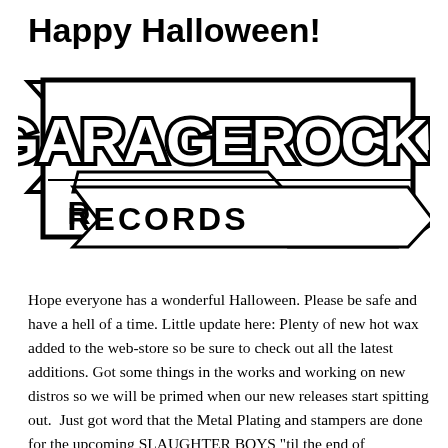Happy Halloween!
[Figure (logo): Garage Rock! Records logo — black and white graffiti-style text 'GARAGEROCK!' with 'RECORDS' below, set against a lightning bolt/banner shape]
Hope everyone has a wonderful Halloween. Please be safe and have a hell of a time. Little update here: Plenty of new hot wax added to the web-store so be sure to check out all the latest additions. Got some things in the works and working on new distros so we will be primed when our new releases start spitting out.  Just got word that the Metal Plating and stampers are done for the upcoming SLAUGHTER BOYS "til the end of